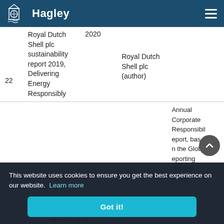Hagley
| # | Title | Year | Author | Type |
| --- | --- | --- | --- | --- |
| 22 | Royal Dutch Shell plc sustainability report 2019, Delivering Energy Responsibly | 2020 | Royal Dutch Shell plc (author) |  |
|  |  |  |  | Annual Corporate Responsibility report, based on the Global Reporting Initiative (GRI) guidelines. |
This website uses cookies to ensure you get the best experience on our website. Learn more
Got it!
Returning to